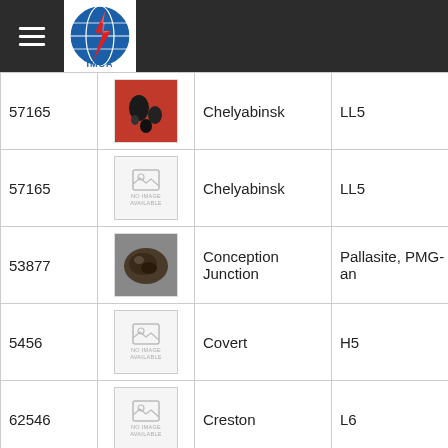IMCA
| ID | Image | Name | Type | Country |
| --- | --- | --- | --- | --- |
| 57165 | [image] | Chelyabinsk | LL5 | Russia |
| 57165 | [no image] | Chelyabinsk | LL5 | Russia |
| 53877 | [image] | Conception Junction | Pallasite, PMG-an | United States |
| 5456 | [no image] | Covert | H5 | United States |
| 62546 | [no image] | Creston | L6 | United States |
| 7732 | [image] | Dronino | Iron, ungrouped | Russia |
| 10174 | [no image] | Franconia | H5 | United States |